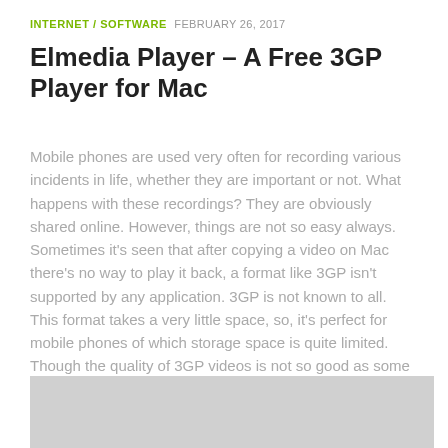INTERNET / SOFTWARE  FEBRUARY 26, 2017
Elmedia Player – A Free 3GP Player for Mac
Mobile phones are used very often for recording various incidents in life, whether they are important or not. What happens with these recordings? They are obviously shared online. However, things are not so easy always. Sometimes it's seen that after copying a video on Mac there's no way to play it back, a format like 3GP isn't supported by any application. 3GP is not known to all. This format takes a very little space, so, it's perfect for mobile phones of which storage space is quite limited. Though the quality of 3GP videos is not so good as some frames look like colorful spots, it's good for playing on cell ...
[Figure (other): Gray image placeholder at the bottom of the article]